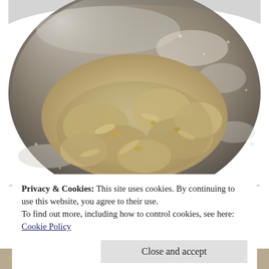[Figure (photo): A metal mixing bowl viewed from above containing rough, crumbly cookie dough or biscuit mixture with flour dusted around the inside of the bowl.]
Privacy & Cookies: This site uses cookies. By continuing to use this website, you agree to their use.
To find out more, including how to control cookies, see here: Cookie Policy
Close and accept
[Figure (photo): Partial view of another food photo at the bottom of the page, cropped.]